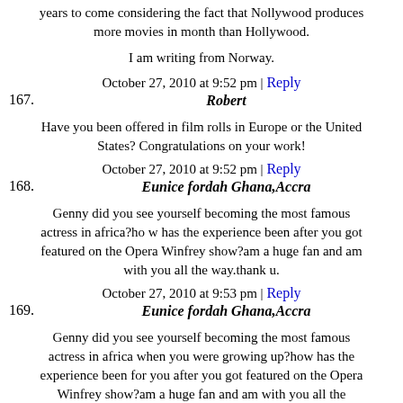years to come considering the fact that Nollywood produces more movies in month than Hollywood.
I am writing from Norway.
October 27, 2010 at 9:52 pm | Reply
167. Robert
Have you been offered in film rolls in Europe or the United States? Congratulations on your work!
October 27, 2010 at 9:52 pm | Reply
168. Eunice fordah Ghana,Accra
Genny did you see yourself becoming the most famous actress in africa?ho w has the experience been after you got featured on the Opera Winfrey show?am a huge fan and am with you all the way.thank u.
October 27, 2010 at 9:53 pm | Reply
169. Eunice fordah Ghana,Accra
Genny did you see yourself becoming the most famous actress in africa when you were growing up?how has the experience been for you after you got featured on the Opera Winfrey show?am a huge fan and am with you all the